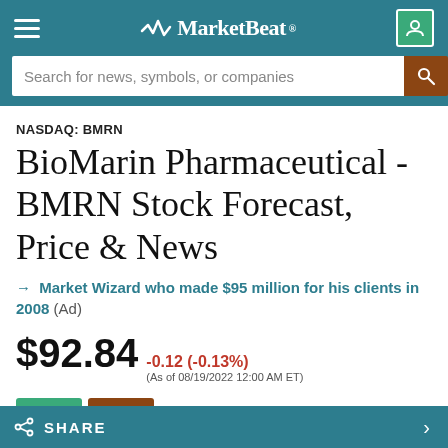MarketBeat
Search for news, symbols, or companies
NASDAQ: BMRN
BioMarin Pharmaceutical - BMRN Stock Forecast, Price & News
→ Market Wizard who made $95 million for his clients in 2008 (Ad)
$92.84 -0.12 (-0.13%) (As of 08/19/2022 12:00 AM ET)
SHARE